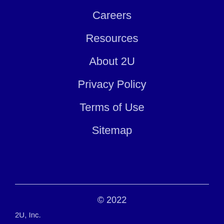Careers
Resources
About 2U
Privacy Policy
Terms of Use
Sitemap
© 2022
2U, Inc.